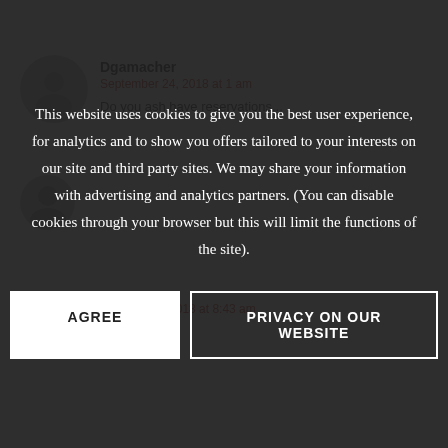Dgamacher
September 24, 2018 at 1 am
Do you ash have reservations...
September 30, 2018 at 8:43 am
Excellence..
BubbleNSqueek
October 23, 2018 at 2:05 am
Made the pumpkin spice version and loved it! Wish I'd made even more.
This website uses cookies to give you the best user experience, for analytics and to show you offers tailored to your interests on our site and third party sites. We may share your information with advertising and analytics partners. (You can disable cookies through your browser but this will limit the functions of the site).